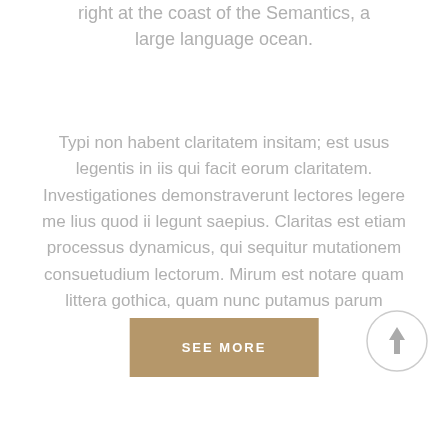right at the coast of the Semantics, a large language ocean.
Typi non habent claritatem insitam; est usus legentis in iis qui facit eorum claritatem. Investigationes demonstraverunt lectores legere me lius quod ii legunt saepius. Claritas est etiam processus dynamicus, qui sequitur mutationem consuetudium lectorum. Mirum est notare quam littera gothica, quam nunc putamus parum claram.
[Figure (other): A tan/brown rectangular button with white uppercase text reading SEE MORE, and a circular scroll-to-top button with an upward arrow icon on the right side]